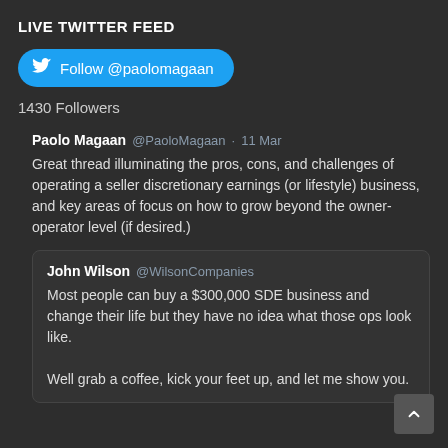LIVE TWITTER FEED
[Figure (other): Twitter Follow button for @paolomagaan in blue rounded rectangle with bird logo]
1430 Followers
Paolo Magaan @PaoloMagaan · 11 Mar
Great thread illuminating the pros, cons, and challenges of operating a seller discretionary earnings (or lifestyle) business, and key areas of focus on how to grow beyond the owner-operator level (if desired.)
John Wilson @WilsonCompanies
Most people can buy a $300,000 SDE business and change their life but they have no idea what those ops look like.

Well grab a coffee, kick your feet up, and let me show you.